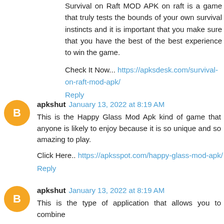Survival on Raft MOD APK on raft is a game that truly tests the bounds of your own survival instincts and it is important that you make sure that you have the best of the best experience to win the game.
Check It Now... https://apksdesk.com/survival-on-raft-mod-apk/
Reply
apkshut January 13, 2022 at 8:19 AM
This is the Happy Glass Mod Apk kind of game that anyone is likely to enjoy because it is so unique and so amazing to play.
Click Here.. https://apksspot.com/happy-glass-mod-apk/
Reply
apkshut January 13, 2022 at 8:19 AM
This is the type of application that allows you to combine